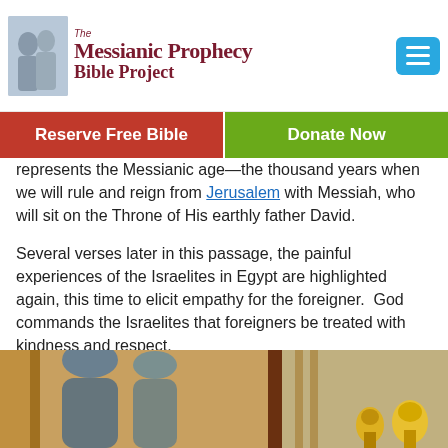The Messianic Prophecy Bible Project
Reserve Free Bible
Donate Now
represents the Messianic age—the thousand years when we will rule and reign from Jerusalem with Messiah, who will sit on the Throne of His earthly father David.
Several verses later in this passage, the painful experiences of the Israelites in Egypt are highlighted again, this time to elicit empathy for the foreigner.  God commands the Israelites that foreigners be treated with kindness and respect.
“You shall neither mistreat a stranger nor oppress him, for you were strangers in the land of Egypt.”  (Exodus 22:21)
[Figure (photo): A photograph showing figures in what appears to be an ornate setting, partially visible at the bottom of the page.]